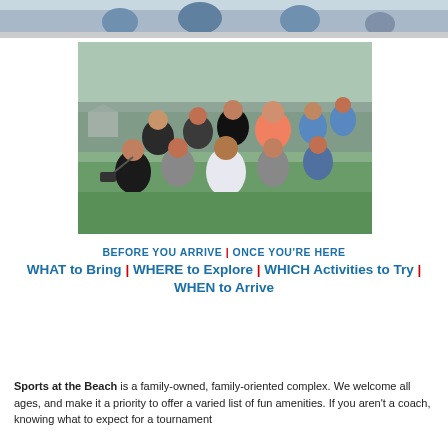[Figure (photo): Partial top photo showing youth sports players, cropped at top of page]
[Figure (photo): Group photo of a family or team taking a selfie on a green grass field at a sports complex, with a gazebo visible in the background]
BEFORE YOU ARRIVE | ONCE YOU'RE HERE
WHAT to Bring | WHERE to Explore | WHICH Activities to Try | WHEN to Arrive
Sports at the Beach is a family-owned, family-oriented complex. We welcome all ages, and make it a priority to offer a varied list of fun amenities. If you aren't a coach, knowing what to expect for a tournament